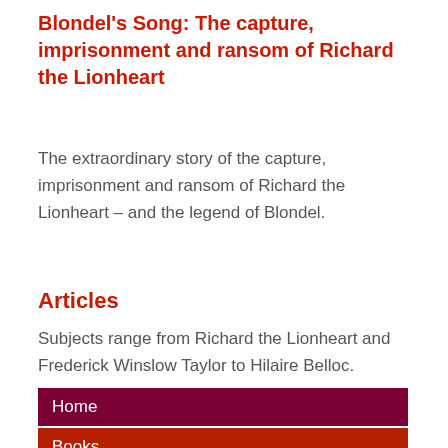Blondel's Song: The capture, imprisonment and ransom of Richard the Lionheart
The extraordinary story of the capture, imprisonment and ransom of Richard the Lionheart – and the legend of Blondel.
Articles
Subjects range from Richard the Lionheart and Frederick Winslow Taylor to Hilaire Belloc.
Home
Books
The Real Press
History
Authenticity